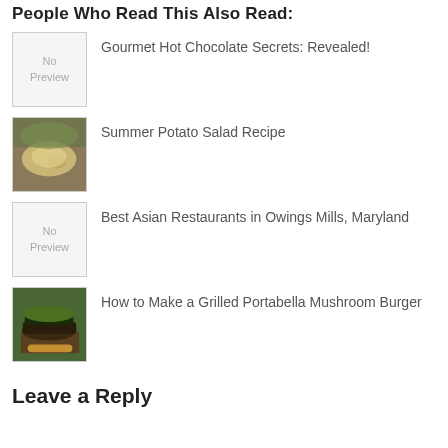People Who Read This Also Read:
Gourmet Hot Chocolate Secrets: Revealed!
Summer Potato Salad Recipe
Best Asian Restaurants in Owings Mills, Maryland
How to Make a Grilled Portabella Mushroom Burger
Leave a Reply